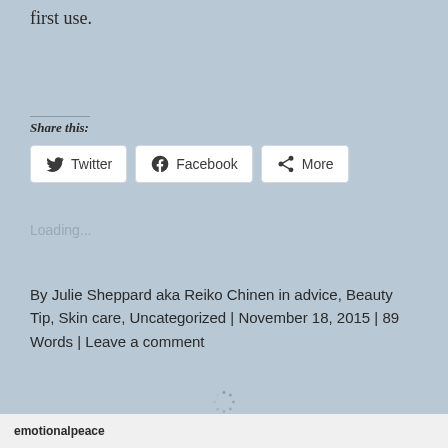first use.
Share this:
Twitter  Facebook  More
Loading...
By Julie Sheppard aka Reiko Chinen in advice, Beauty Tip, Skin care, Uncategorized | November 18, 2015 | 89 Words | Leave a comment
emotionalpeace